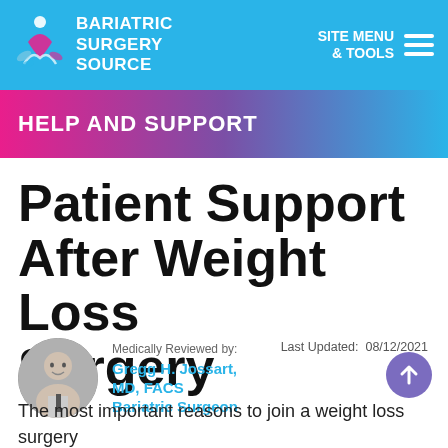BARIATRIC SURGERY SOURCE | SITE MENU & TOOLS
HELP AND SUPPORT
Patient Support After Weight Loss Surgery
Medically Reviewed by: Gregg H. Jossart, MD, FACS Bariatric Surgeon | Last Updated: 08/12/2021
The most important reasons to join a weight loss surgery